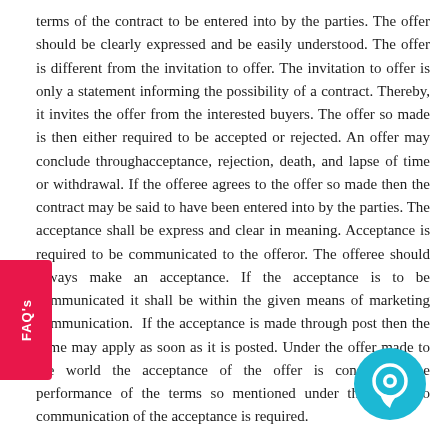terms of the contract to be entered into by the parties. The offer should be clearly expressed and be easily understood. The offer is different from the invitation to offer. The invitation to offer is only a statement informing the possibility of a contract. Thereby, it invites the offer from the interested buyers. The offer so made is then either required to be accepted or rejected. An offer may conclude throughacceptance, rejection, death, and lapse of time or withdrawal. If the offeree agrees to the offer so made then the contract may be said to have been entered into by the parties. The acceptance shall be express and clear in meaning. Acceptance is required to be communicated to the offeror. The offeree should always make an acceptance. If the acceptance is to be communicated it shall be within the given means of marketing communication. If the acceptance is made through post then the same may apply as soon as it is posted. Under the offer made to the world the acceptance of the offer is considered the performance of the terms so mentioned under the offer, no communication of the acceptance is required.